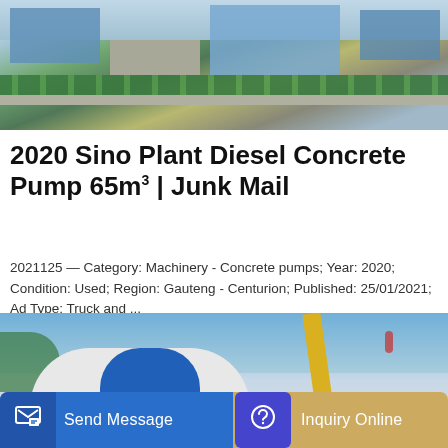[Figure (photo): Aerial view of a large industrial/commercial campus with blue buildings, parking lots, and tree-lined roads]
2020 Sino Plant Diesel Concrete Pump 65m³ | Junk Mail
2021125 — Category: Machinery - Concrete pumps; Year: 2020; Condition: Used; Region: Gauteng - Centurion; Published: 25/01/2021; Ad Type: Truck and ...
Learn More
[Figure (photo): Partial view of a concrete pump truck with white/blue spherical hopper and yellow crane arm against blue sky]
Send Message
Inquiry Online